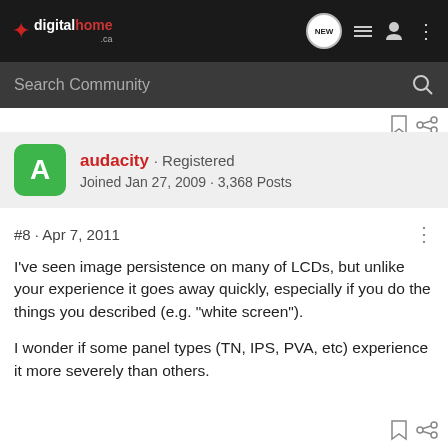digitalhome.ca
Search Community
audacity · Registered
Joined Jan 27, 2009 · 3,368 Posts
#8 · Apr 7, 2011
I've seen image persistence on many of LCDs, but unlike your experience it goes away quickly, especially if you do the things you described (e.g. "white screen").
I wonder if some panel types (TN, IPS, PVA, etc) experience it more severely than others.